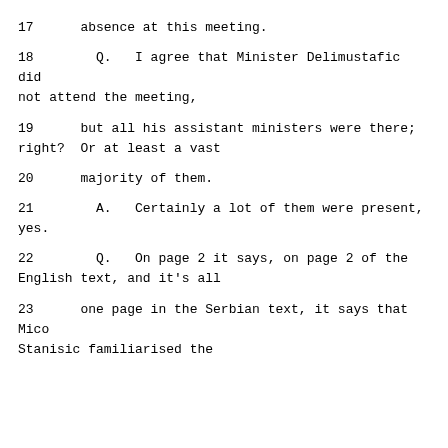17    absence at this meeting.
18        Q.   I agree that Minister Delimustafic did not attend the meeting,
19      but all his assistant ministers were there;
right?  Or at least a vast
20      majority of them.
21        A.   Certainly a lot of them were present,
yes.
22        Q.   On page 2 it says, on page 2 of the
English text, and it's all
23      one page in the Serbian text, it says that Mico
Stanisic familiarised the